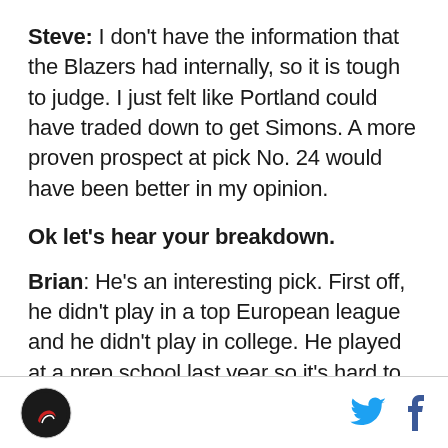Steve: I don't have the information that the Blazers had internally, so it is tough to judge. I just felt like Portland could have traded down to get Simons. A more proven prospect at pick No. 24 would have been better in my opinion.
Ok let's hear your breakdown.
Brian: He's an interesting pick. First off, he didn't play in a top European league and he didn't play in college. He played at a prep school last year so it's hard to say what he's capable of it. He's a shooter with NBA athletic ability, but he has a very young body and is beyond unproven. He was much better than the prep
[logo] [twitter icon] [facebook icon]